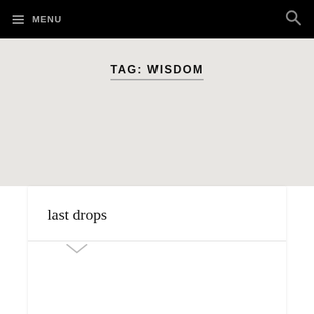≡ MENU  [search icon]
TAG: WISDOM
last drops